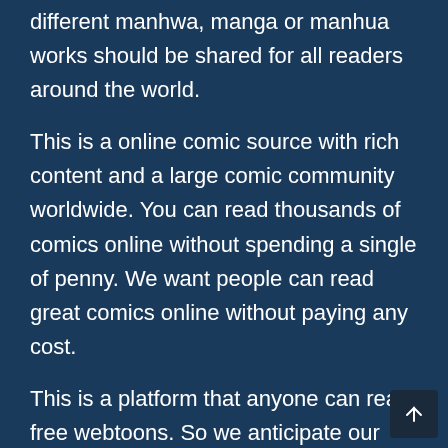different manhwa, manga or manhua works should be shared for all readers around the world.
This is a online comic source with rich content and a large comic community worldwide. You can read thousands of comics online without spending a single of penny. We want people can read great comics online without paying any cost.
This is a platform that anyone can read free webtoons. So we anticipate our readers to be patient and wait to read manhwa, manhua and manga that we recommend. We want to keep up to date so we will add outstanding story comics as soon as they are available.
ILOVEMANHWA is our small effort to manhwa, manga